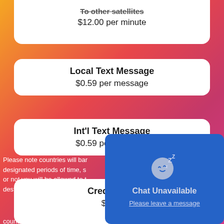To other satellites
$12.00 per minute
Local Text Message
$0.59 per message
Int'l Text Message
$0.59 per message
Credit Card
$500.
Please note countries will ban designated periods of time, s or not you will be allowed to t destination country(ies) prior
countries either remove or enact the ban, we advise you to visit the
[Figure (illustration): Chat Unavailable overlay with sleeping face emoji and 'Please leave a message' link on blue background]